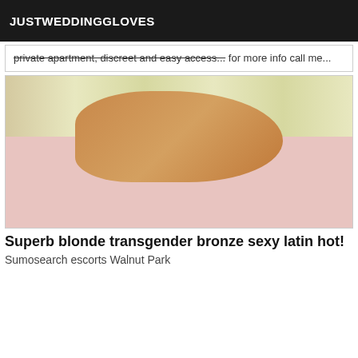JUSTWEDDINGGLOVES
private apartment, discreet and easy access... for more info call me...
[Figure (photo): A blonde transgender woman in red swimwear posing on a bed with floral bedding in a bedroom with striped wallpaper]
Superb blonde transgender bronze sexy latin hot!
Sumosearch escorts Walnut Park